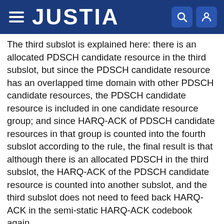JUSTIA
The third subslot is explained here: there is an allocated PDSCH candidate resource in the third subslot, but since the PDSCH candidate resource has an overlapped time domain with other PDSCH candidate resources, the PDSCH candidate resource is included in one candidate resource group; and since HARQ-ACK of PDSCH candidate resources in that group is counted into the fourth subslot according to the rule, the final result is that although there is an allocated PDSCH in the third subslot, the HARQ-ACK of the PDSCH candidate resource is counted into another subslot, and the third subslot does not need to feed back HARQ-ACK in the semi-static HARQ-ACK codebook again.
According to the above method, the HARQ-ACK information contained in the semi-static HARQ-ACK codebook generated in Scenario 3 sequentially includes: the overview of HARQ-ACK information of the 3rd...